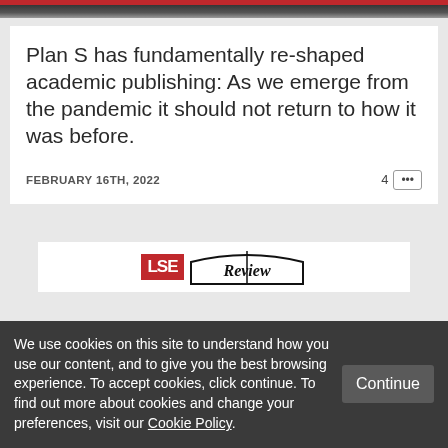[Figure (photo): Top image strip showing partial photo, dark tones with red bar at top]
Plan S has fundamentally re-shaped academic publishing: As we emerge from the pandemic it should not return to how it was before.
FEBRUARY 16TH, 2022
4 [...more button...]
[Figure (logo): LSE Review logo — red LSE box and book-shaped Review text]
We use cookies on this site to understand how you use our content, and to give you the best browsing experience. To accept cookies, click continue. To find out more about cookies and change your preferences, visit our Cookie Policy.